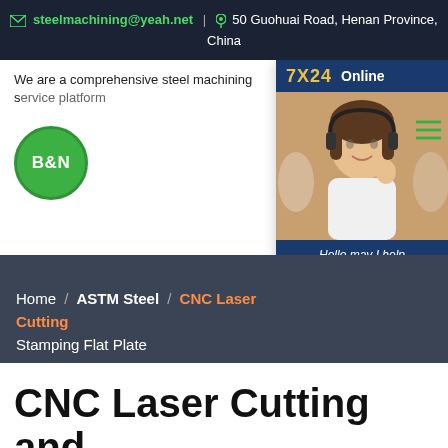steelmachining@yeah.net | 50 Guohuai Road, Henan Province, China
We are a comprehensive steel machining s...
[Figure (photo): Customer service representative with headset, smiling. Overlay shows 7X24 Online text, Hello,may I help you? message and Get Latest Price button.]
[Figure (logo): B&N company logo - green circle with white B&N text]
Home / ASTM Steel / CNC Laser Cutting ... Stamping Flat Plate
CNC Laser Cutting and